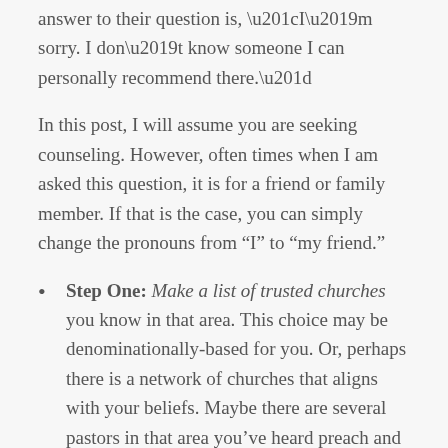answer to their question is, “I’m sorry. I don’t know someone I can personally recommend there.”
In this post, I will assume you are seeking counseling. However, often times when I am asked this question, it is for a friend or family member. If that is the case, you can simply change the pronouns from “I” to “my friend.”
Step One: Make a list of trusted churches you know in that area. This choice may be denominationally-based for you. Or, perhaps there is a network of churches that aligns with your beliefs. Maybe there are several pastors in that area you’ve heard preach and you appreciate how they teach the Bible.
Step Two: Call these churches and ask, “Who do you recommend for counseling?” At this